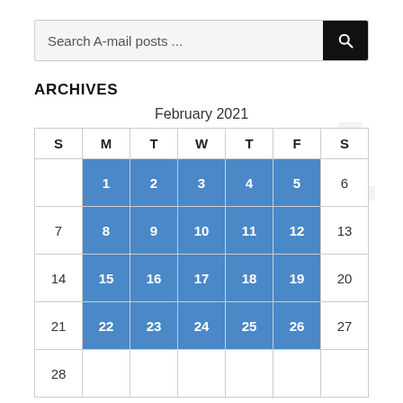[Figure (other): Search bar with magnifying glass icon, placeholder text 'Search A-mail posts ...']
ARCHIVES
February 2021
| S | M | T | W | T | F | S |
| --- | --- | --- | --- | --- | --- | --- |
|  | 1 | 2 | 3 | 4 | 5 | 6 |
| 7 | 8 | 9 | 10 | 11 | 12 | 13 |
| 14 | 15 | 16 | 17 | 18 | 19 | 20 |
| 21 | 22 | 23 | 24 | 25 | 26 | 27 |
| 28 |  |  |  |  |  |  |